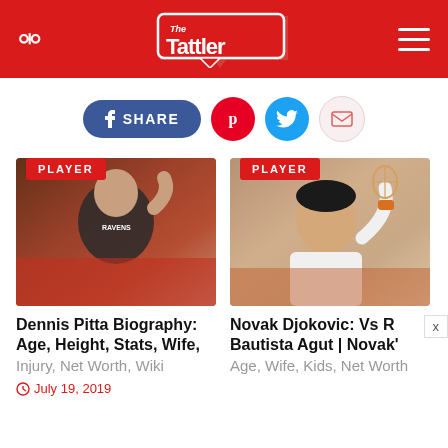The Tattler
[Figure (infographic): Social share bar with Facebook SHARE button, Pinterest (red circle), Twitter (blue circle), and Email (light circle) buttons]
[Figure (photo): Dennis Pitta in black Ravens jersey with PLAYER badge overlay]
Dennis Pitta Biography: Age, Height, Stats, Wife,
Injury, Net Worth, Wiki
July 19, 2019
[Figure (photo): Novak Djokovic holding a tennis racket with PLAYER badge overlay]
Novak Djokovic: Vs R Bautista Agut | Novak'
Age, Wife, Kids, Net Worth